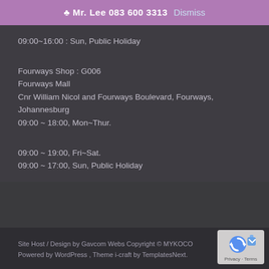♣ Mr. Lee 083 600 3313 Dismiss
09:00~16:00 : Sun, Public Holiday
Fourways Shop : G006
Fourways Mall
Cnr William Nicol and Fourways Boulevard, Fourways, Johannesburg
09:00 ~ 18:00, Mon~Thur.
09:00 ~ 19:00, Fri~Sat.
09:00 ~ 17:00, Sun, Public Holiday
Site Host / Design by Gavcom Webs Copyright © MYKOCO
Powered by WordPress , Theme i-craft by TemplatesNext.